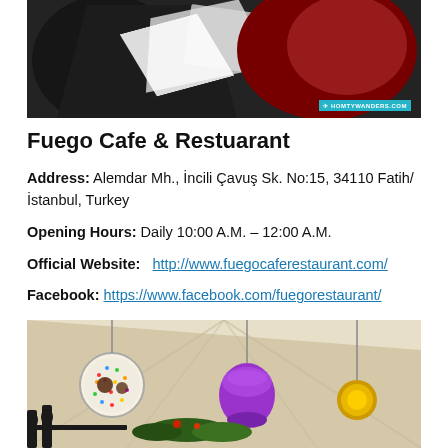[Figure (photo): Top portion of a photo showing colorful decorative elements against a dark background, with a watermark reading HOMTYWANDERS.COM]
Fuego Cafe & Restuarant
Address: Alemdar Mh., İncili Çavuş Sk. No:15, 34110 Fatih/İstanbul, Turkey
Opening Hours: Daily 10:00 A.M. – 12:00 A.M.
Official Website: http://www.fuegocaferestaurant.com/
Facebook: https://www.facebook.com/fuegorestaurant/
[Figure (photo): Interior photo of Fuego Cafe showing colorful hanging lanterns and decorative lights including a purple lantern, sprinkle-covered orb, and floral decorations]